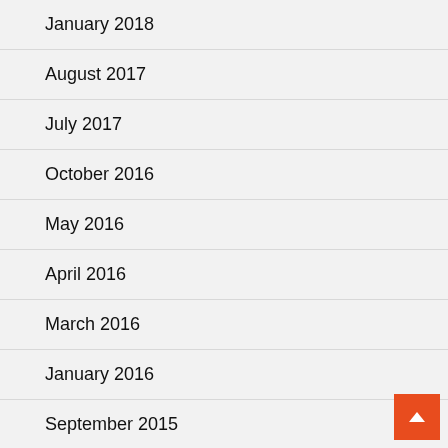January 2018
August 2017
July 2017
October 2016
May 2016
April 2016
March 2016
January 2016
September 2015
May 2015